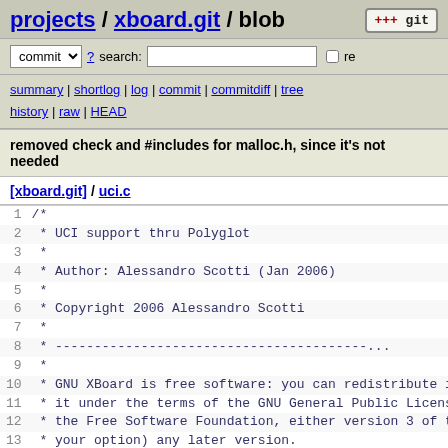projects / xboard.git / blob
commit ? search: re
summary | shortlog | log | commit | commitdiff | tree
history | raw | HEAD
removed check and #includes for malloc.h, since it's not needed
[xboard.git] / uci.c
1  /*
2   * UCI support thru Polyglot
3   *
4   * Author: Alessandro Scotti (Jan 2006)
5   *
6   * Copyright 2006 Alessandro Scotti
7   *
8   * ---...
9   *
10  * GNU XBoard is free software: you can redistribute it
11  * it under the terms of the GNU General Public License
12  * the Free Software Foundation, either version 3 of th
13  * your option) any later version.
14  *
15  * GNU XBoard is distributed in the hope that it will b
16  * WITHOUT ANY WARRANTY; without even the implied warra
17  * MERCHANTABILITY or FITNESS FOR A PARTICULAR PURPOSE.
18  * General Public License for more details.
19  *